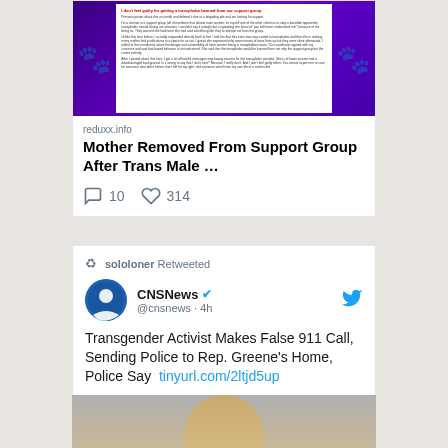[Figure (screenshot): Twitter/social media card showing a link preview to reduxx.info with a purple background image containing a white text document. Source label reads 'reduxx.info'. Title reads 'Mother Removed From Support Group After Trans Male …'. Shows 10 comments and 314 likes.]
reduxx.info
Mother Removed From Support Group After Trans Male …
10  314
[Figure (screenshot): Retweeted tweet by CNSNews (@cnsnews) with blue verified checkmark, posted 4h ago. Text: 'Transgender Activist Makes False 911 Call, Sending Police to Rep. Greene's Home, Police Say tinyurl.com/2ltjd5up']
sololoner Retweeted
CNSNews @cnsnews · 4h
Transgender Activist Makes False 911 Call, Sending Police to Rep. Greene's Home, Police Say  tinyurl.com/2ltjd5up
[Figure (photo): Partial photo at bottom showing what appears to be a person with blonde hair against a gray/neutral background, cropped to show only the top portion.]